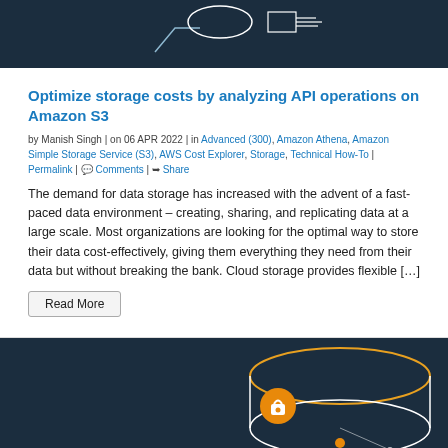[Figure (illustration): Dark blue technical/cloud diagram illustration at top of page]
Optimize storage costs by analyzing API operations on Amazon S3
by Manish Singh | on 06 APR 2022 | in Advanced (300), Amazon Athena, Amazon Simple Storage Service (S3), AWS Cost Explorer, Storage, Technical How-To | Permalink | Comments | Share
The demand for data storage has increased with the advent of a fast-paced data environment – creating, sharing, and replicating data at a large scale. Most organizations are looking for the optimal way to store their data cost-effectively, giving them everything they need from their data but without breaking the bank. Cloud storage provides flexible [...]
Read More
[Figure (illustration): Dark blue S3 bucket illustration with orange lock icon and circular design elements]